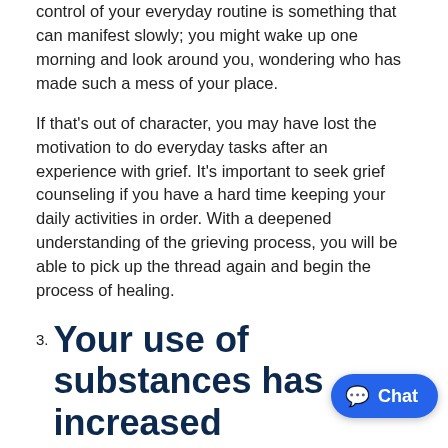control of your everyday routine is something that can manifest slowly; you might wake up one morning and look around you, wondering who has made such a mess of your place.
If that's out of character, you may have lost the motivation to do everyday tasks after an experience with grief. It's important to seek grief counseling if you have a hard time keeping your daily activities in order. With a deepened understanding of the grieving process, you will be able to pick up the thread again and begin the process of healing.
3. Your use of substances has increased
Some people turn to drugs or alcohol to cope with the powerful emotions of grief and sadness. People who are grieving are at an increased risk of developing a substance use disorder, as drugs and alcohol become unhealthy coping mechanisms du... ...cult time.